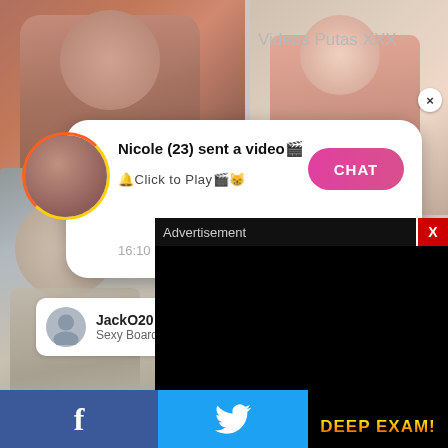[Figure (photo): Photo of a young woman on left side, top area]
Videos Putas XXX
[Figure (photo): Photo of a blonde older woman on right side]
[Figure (screenshot): Push notification popup: Nicole (23) sent a video, Click to Play, with CHAT button and timestamp 16:10]
Nicole (23) sent a video🎬
🔔Click to Play🎬😸
16:10
CHAT
JackO20
Sexy Board
[Figure (photo): Photo of a woman with glasses and long hair]
Katarina Meis in Delight by Met-Ar
♥ 4
Advertisement
X
f
DEEP EXAM!